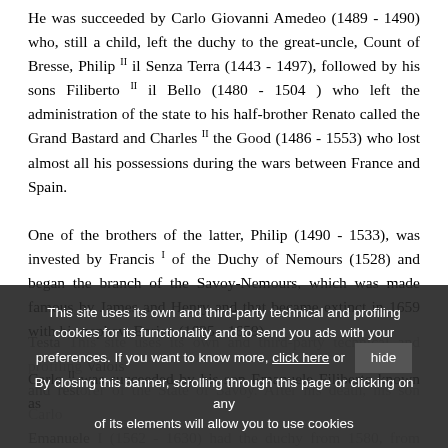He was succeeded by Carlo Giovanni Amedeo (1489 - 1490) who, still a child, left the duchy to the great-uncle, Count of Bresse, Philip II il Senza Terra (1443 - 1497), followed by his sons Filiberto II il Bello (1480 - 1504 ) who left the administration of the state to his half-brother Renato called the Grand Bastard and Charles II the Good (1486 - 1553) who lost almost all his possessions during the wars between France and Spain.
One of the brothers of the latter, Philip (1490 - 1533), was invested by Francis I of the Duchy of Nemours (1528) and began the branch of the Savoy-Nemours, which was made famous by James and Henry and that became extinct in 1659 with his nephew Enrico (1625 - 1659).
Carlo II was succeeded by his son Emanuele Filiberto known as Testa ... Valois and restorer of the State of Savoy. After his death, his son Carlo Emanuele I (1562 - 1630) had the duchy from 1580, from which, among others, Emanuele Filiberto (1595 - 1605) who died
This site uses its own and third-party technical and profiling cookies for its functionality and to send you ads with your preferences. If you want to know more, click here or hide. By closing this banner, scrolling through this page or clicking on any of its elements will allow you to use cookies